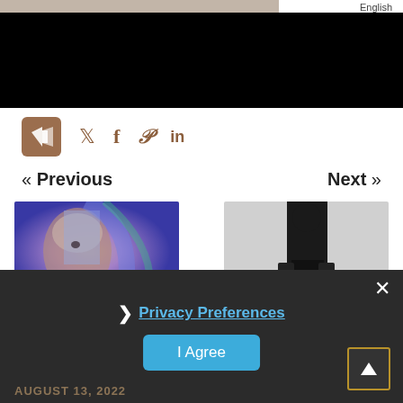[Figure (screenshot): Top black banner area with partial beige/photo strip at the very top and English language label]
English
[Figure (infographic): Share bar with brown share icon box and social icons: Twitter, Facebook, Pinterest, LinkedIn]
« Previous
Next »
[Figure (photo): Thumbnail of artistic face painting with blue/purple colors]
🇵🇹 Não é o Fim.
[Figure (photo): Thumbnail of fashion photo showing person in black outfit]
Fashion Picks for August: Getting
[Figure (screenshot): Dark overlay with Privacy Preferences popup, I Agree button, close X button, and back-to-top arrow]
❯ Privacy Preferences
I Agree
AUGUST 13, 2022